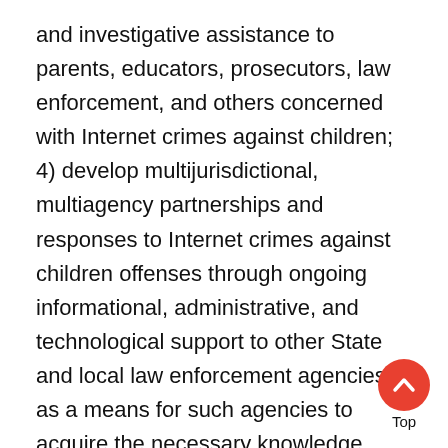and investigative assistance to parents, educators, prosecutors, law enforcement, and others concerned with Internet crimes against children; 4) develop multijurisdictional, multiagency partnerships and responses to Internet crimes against children offenses through ongoing informational, administrative, and technological support to other State and local law enforcement agencies, as a means for such agencies to acquire the necessary knowledge, personnel, and specialized equipment to investigate and prosecute such offenses; 5) participate in nationally coordinated investigations in any case in which the Attorney General determines such participation to be necessary, as permitted by the available resource of such task force; 6) establish or adopt investigative and prosecution standards consistent with established norms to which related forces shall comply; 7)